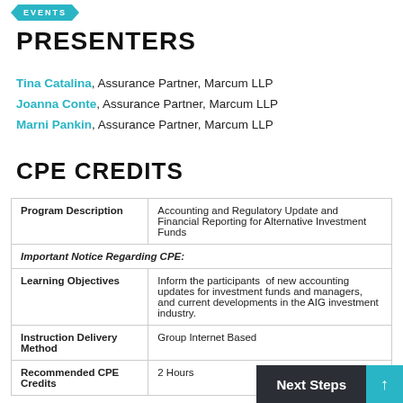[Figure (other): Teal ribbon/banner graphic with 'EVENTS' text at top of page]
PRESENTERS
Tina Catalina, Assurance Partner, Marcum LLP
Joanna Conte, Assurance Partner, Marcum LLP
Marni Pankin, Assurance Partner, Marcum LLP
CPE CREDITS
| Program Description | Accounting and Regulatory Update and Financial Reporting for Alternative Investment Funds |
| --- | --- |
| Important Notice Regarding CPE: |  |
| Learning Objectives | Inform the participants of new accounting updates for investment funds and managers, and current developments in the AIG investment industry. |
| Instruction Delivery Method | Group Internet Based |
| Recommended CPE Credits | 2 Hours |